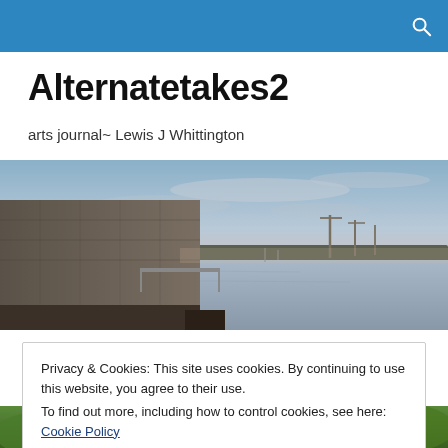Alternatetakes2
arts journal~ Lewis J Whittington
[Figure (photo): Wide panoramic harbor/waterfront photo at dusk showing a stone building on the left, calm water in the center, and industrial cranes on the right horizon under a pastel sky.]
Privacy & Cookies: This site uses cookies. By continuing to use this website, you agree to their use.
To find out more, including how to control cookies, see here: Cookie Policy
[Figure (photo): Partial bottom strip showing green treetops or foliage.]